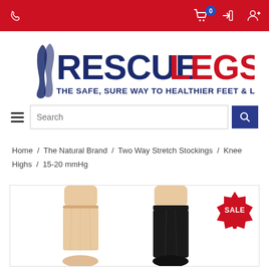Rescue Legs navigation bar with phone, cart (0), login, and account icons
[Figure (logo): Rescue Legs logo: stylized leg icon on left, RESCUE in dark navy blue, LEGS in red, tagline THE SAFE, SURE WAY TO HEALTHIER FEET & LEGS!]
Search
Home / The Natural Brand / Two Way Stretch Stockings / Knee Highs / 15-20 mmHg
[Figure (photo): Two legs wearing compression knee high stockings — one in nude/beige color and one in black — shown from the knee down, with a red SALE starburst badge in the top right corner of the product card.]